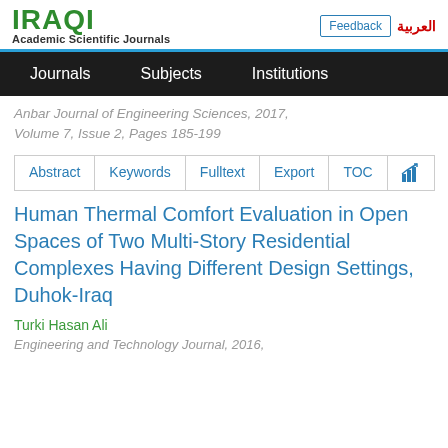IRAQI Academic Scientific Journals | Feedback | العربية
Journals | Subjects | Institutions
Anbar Journal of Engineering Sciences, 2017, Volume 7, Issue 2, Pages 185-199
Abstract | Keywords | Fulltext | Export | TOC
Human Thermal Comfort Evaluation in Open Spaces of Two Multi-Story Residential Complexes Having Different Design Settings, Duhok-Iraq
Turki Hasan Ali
Engineering and Technology Journal, 2016,